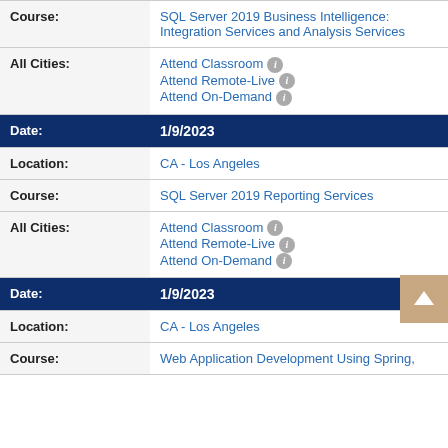| Field | Value |
| --- | --- |
| Course: | SQL Server 2019 Business Intelligence: Integration Services and Analysis Services |
| All Cities: | Attend Classroom
Attend Remote-Live
Attend On-Demand |
| Date: | 1/9/2023 |
| Location: | CA - Los Angeles |
| Course: | SQL Server 2019 Reporting Services |
| All Cities: | Attend Classroom
Attend Remote-Live
Attend On-Demand |
| Date: | 1/9/2023 |
| Location: | CA - Los Angeles |
| Course: | Web Application Development Using Spring, |